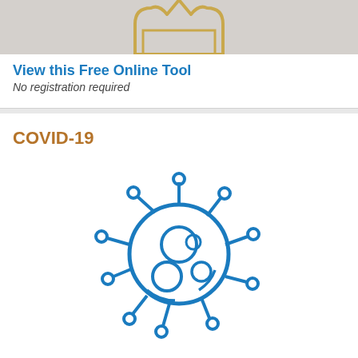[Figure (illustration): Top portion of a UI card showing a decorative crown/trophy illustration on a grey background]
View this Free Online Tool
No registration required
COVID-19
[Figure (illustration): Coronavirus icon — outline drawing of a virus particle with spikes ending in circles, rendered in blue]
Recommended Topics